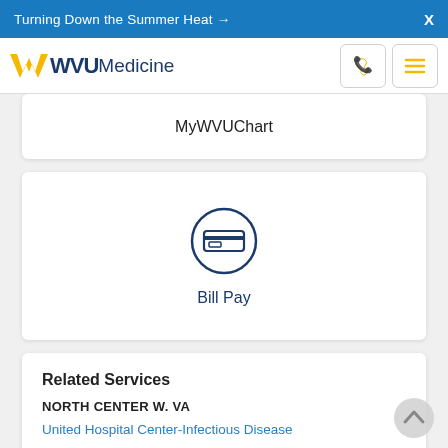Turning Down the Summer Heat →  X
[Figure (logo): WVU Medicine logo with golden Flying WV icon and blue WVU Medicine text, phone icon button, hamburger menu button]
MyWVUChart
[Figure (illustration): Bill Pay icon: circle with credit card symbol inside, dark navy blue outline]
Bill Pay
Related Services
NORTH CENTER W. VA
United Hospital Center-Infectious Disease
J. W. Ruby Memorial Hospital-Infectious Diseases
J. W. Ruby Memorial Hospital-Travel Medicine